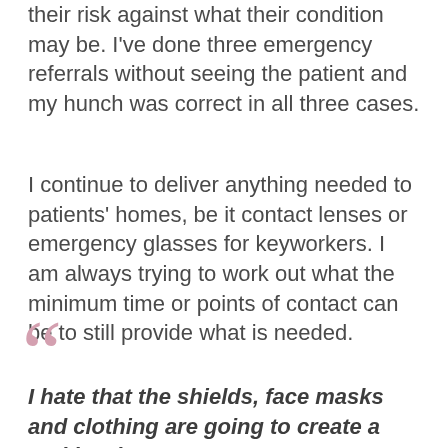their risk against what their condition may be. I've done three emergency referrals without seeing the patient and my hunch was correct in all three cases.
I continue to deliver anything needed to patients' homes, be it contact lenses or emergency glasses for keyworkers. I am always trying to work out what the minimum time or points of contact can be to still provide what is needed.
I hate that the shields, face masks and clothing are going to create a real barrier